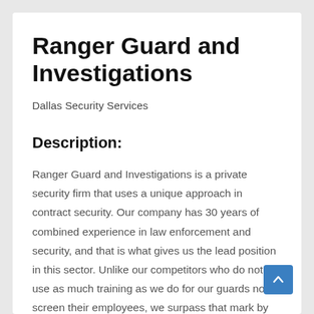Ranger Guard and Investigations
Dallas Security Services
Description:
Ranger Guard and Investigations is a private security firm that uses a unique approach in contract security. Our company has 30 years of combined experience in law enforcement and security, and that is what gives us the lead position in this sector. Unlike our competitors who do not use as much training as we do for our guards nor screen their employees, we surpass that mark by thoroughly training our guards and following the strictest steps in the hiring process. Our